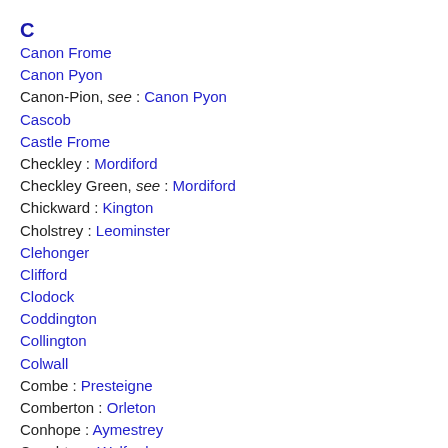C
Canon Frome
Canon Pyon
Canon-Pion, see : Canon Pyon
Cascob
Castle Frome
Checkley : Mordiford
Checkley Green, see : Mordiford
Chickward : Kington
Cholstrey : Leominster
Clehonger
Clifford
Clodock
Coddington
Collington
Colwall
Combe : Presteigne
Comberton : Orleton
Conhope : Aymestrey
Coughton : Walford
Cowarne, Little, see : Little Cowarne
Cowarne, Much, see : Much Cowarne